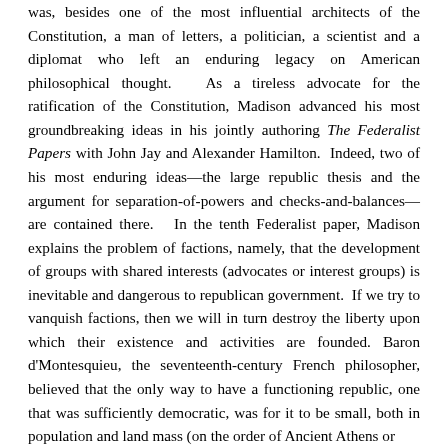was, besides one of the most influential architects of the Constitution, a man of letters, a politician, a scientist and a diplomat who left an enduring legacy on American philosophical thought. As a tireless advocate for the ratification of the Constitution, Madison advanced his most groundbreaking ideas in his jointly authoring The Federalist Papers with John Jay and Alexander Hamilton. Indeed, two of his most enduring ideas—the large republic thesis and the argument for separation-of-powers and checks-and-balances—are contained there. In the tenth Federalist paper, Madison explains the problem of factions, namely, that the development of groups with shared interests (advocates or interest groups) is inevitable and dangerous to republican government. If we try to vanquish factions, then we will in turn destroy the liberty upon which their existence and activities are founded. Baron d'Montesquieu, the seventeenth-century French philosopher, believed that the only way to have a functioning republic, one that was sufficiently democratic, was for it to be small, both in population and land mass (on the order of Ancient Athens or